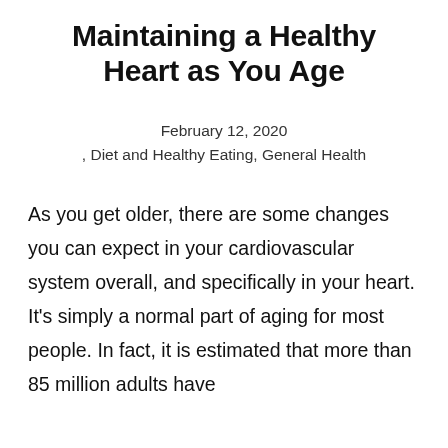Maintaining a Healthy Heart as You Age
February 12, 2020
, Diet and Healthy Eating, General Health
As you get older, there are some changes you can expect in your cardiovascular system overall, and specifically in your heart. It’s simply a normal part of aging for most people. In fact, it is estimated that more than 85 million adults have...